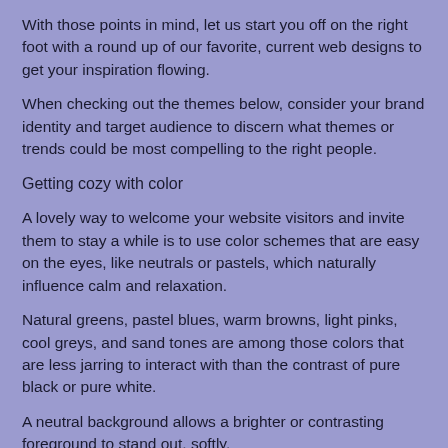With those points in mind, let us start you off on the right foot with a round up of our favorite, current web designs to get your inspiration flowing.
When checking out the themes below, consider your brand identity and target audience to discern what themes or trends could be most compelling to the right people.
Getting cozy with color
A lovely way to welcome your website visitors and invite them to stay a while is to use color schemes that are easy on the eyes, like neutrals or pastels, which naturally influence calm and relaxation.
Natural greens, pastel blues, warm browns, light pinks, cool greys, and sand tones are among those colors that are less jarring to interact with than the contrast of pure black or pure white.
A neutral background allows a brighter or contrasting foreground to stand out, softly.
It draws your users' attention to the bits you want it to (so your branded visuals or products etc.) whilst guiding them towards call-to-actions and other buttons.
Feeling animated?